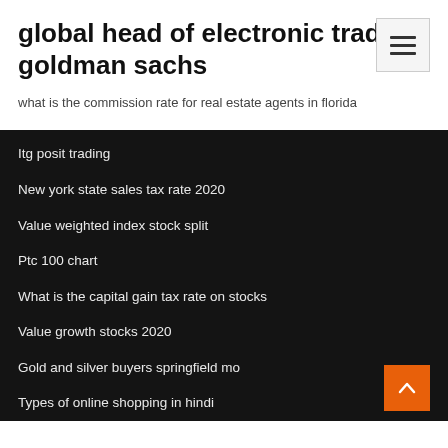global head of electronic trading goldman sachs
what is the commission rate for real estate agents in florida
Itg posit trading
New york state sales tax rate 2020
Value weighted index stock split
Ptc 100 chart
What is the capital gain tax rate on stocks
Value growth stocks 2020
Gold and silver buyers springfield mo
Types of online shopping in hindi